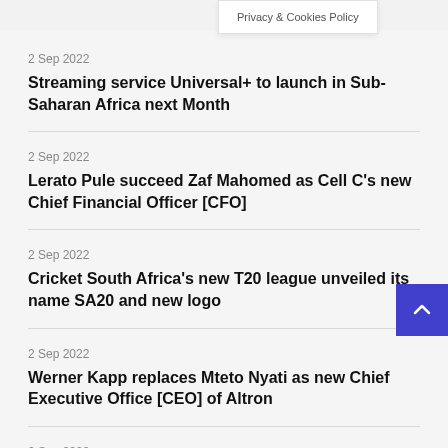Privacy & Cookies Policy
2 Sep 2022
Streaming service Universal+ to launch in Sub-Saharan Africa next Month
2 Sep 2022
Lerato Pule succeed Zaf Mahomed as Cell C's new Chief Financial Officer [CFO]
2 Sep 2022
Cricket South Africa's new T20 league unveiled its name SA20 and new logo
2 Sep 2022
Werner Kapp replaces Mteto Nyati as new Chief Executive Office [CEO] of Altron
2 Sep 2022